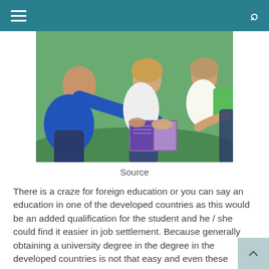[Figure (photo): Students sitting together outdoors, one person in blue sweatshirt pointing at an open book being held by another person, with others looking on]
Source
There is a craze for foreign education or you can say an education in one of the developed countries as this would be an added qualification for the student and he / she could find it easier in job settlement. Because generally obtaining a university degree in the degree in the developed countries is not that easy and even these degree have high value in the job market. Moreover, though our IIMs and IITs are much more better in standard of education than these foreign universities, yet very selected few could obtain a seat in these institutions and also they won't get any aid for doing this particular